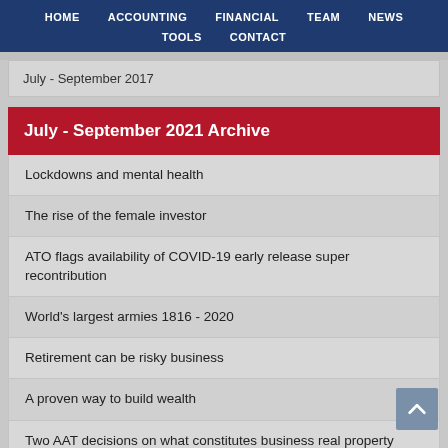HOME  ACCOUNTING  FINANCIAL TOOLS  TEAM  NEWS  CONTACT
July - September 2017
July - September 2021 Archive
Lockdowns and mental health
The rise of the female investor
ATO flags availability of COVID-19 early release super recontribution
World's largest armies 1816 - 2020
Retirement can be risky business
A proven way to build wealth
Two AAT decisions on what constitutes business real property